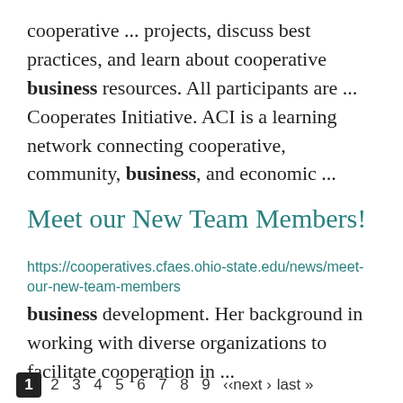cooperative ... projects, discuss best practices, and learn about cooperative business resources. All participants are ... Cooperates Initiative. ACI is a learning network connecting cooperative, community, business, and economic ...
Meet our New Team Members!
https://cooperatives.cfaes.ohio-state.edu/news/meet-our-new-team-members
business development. Her background in working with diverse organizations to facilitate cooperation in ...
1 2 3 4 5 6 7 8 9 ‹‹next › last »